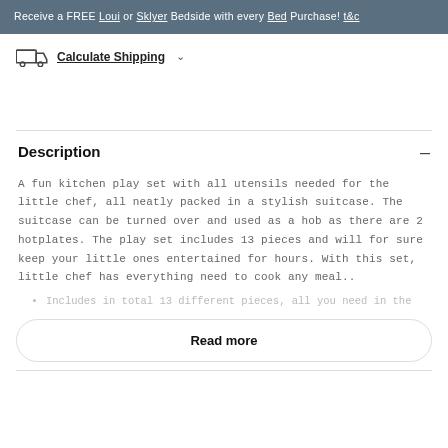Receive a FREE Loui or Sklyer Bedside with every Bed Purchase! t&c
Calculate Shipping
Description
A fun kitchen play set with all utensils needed for the little chef, all neatly packed in a stylish suitcase. The suitcase can be turned over and used as a hob as there are 2 hotplates. The play set includes 13 pieces and will for sure keep your little ones entertained for hours. With this set, little chef has everything need to cook any meal..
Includes in total 13 different pieces, all you need in the
Read more